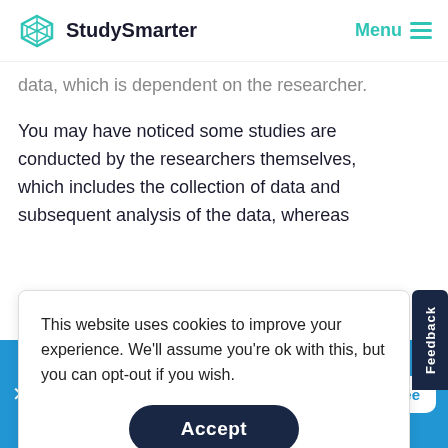StudySmarter | Menu
data, which is dependent on the researcher.
You may have noticed some studies are conducted by the researchers themselves, which includes the collection of data and subsequent analysis of the data, whereas
This website uses cookies to improve your experience. We'll assume you're ok with this, but you can opt-out if you wish.
Accept
Feedback
StudySmarter - The all-in-one study app.
4.8 • +11k Ratings
More than 3 Million Downloads
Free